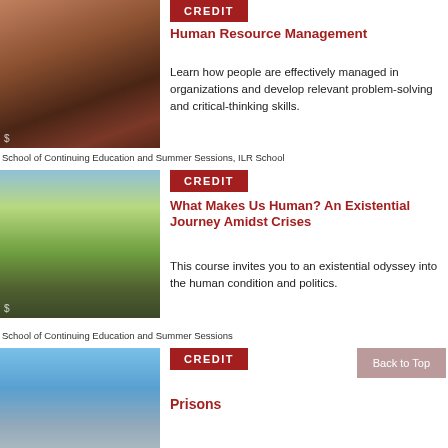[Figure (photo): Group of people in conversation at an event, indoor setting with warm lighting]
[Figure (other): Red CREDIT badge/label]
Human Resource Management
Learn how people are effectively managed in organizations and develop relevant problem-solving and critical-thinking skills.
School of Continuing Education and Summer Sessions, ILR School
[Figure (photo): Cornell University campus with McGraw Tower clock tower and green lawn, people walking]
[Figure (other): Red CREDIT badge/label]
What Makes Us Human? An Existential Journey Amidst Crises
This course invites you to an existential odyssey into the human condition and politics.
School of Continuing Education and Summer Sessions
[Figure (photo): Blue sky with building/tower structure, partial view]
[Figure (other): Red CREDIT badge/label]
Prisons